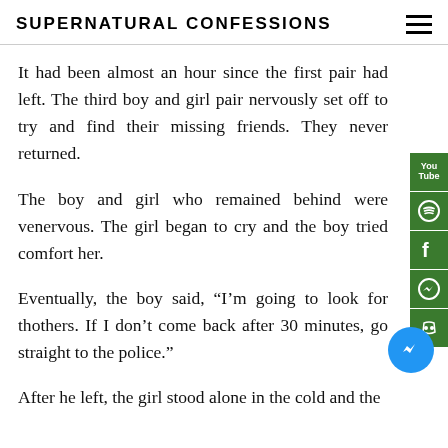SUPERNATURAL CONFESSIONS
It had been almost an hour since the first pair had left. The third boy and girl pair nervously set off to try and find their missing friends. They never returned.
The boy and girl who remained behind were very nervous. The girl began to cry and the boy tried to comfort her.
Eventually, the boy said, “I’m going to look for the others. If I don’t come back after 30 minutes, go straight to the police.”
After he left, the girl stood alone in the cold and the